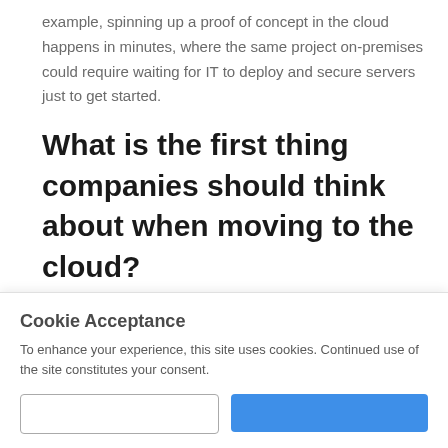example, spinning up a proof of concept in the cloud happens in minutes, where the same project on-premises could require waiting for IT to deploy and secure servers just to get started.
What is the first thing companies should think about when moving to the cloud?
It's really important to have a clear idea of the business
Cookie Acceptance
To enhance your experience, this site uses cookies. Continued use of the site constitutes your consent.